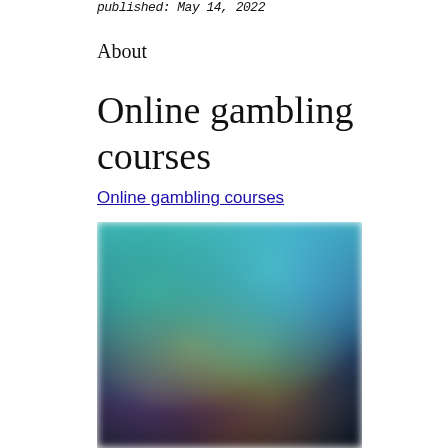published: May 14, 2022
About
Online gambling courses
Online gambling courses
[Figure (photo): Blurred screenshot of an online gambling platform interface showing colorful game thumbnails with animated characters on a dark background.]